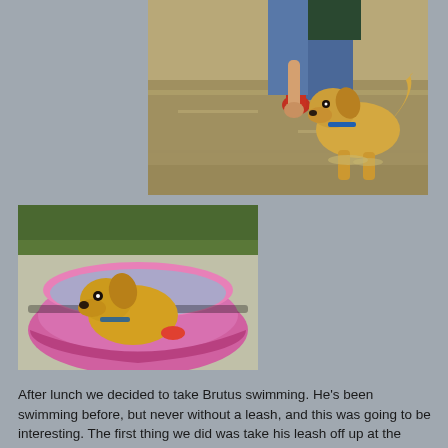[Figure (photo): A person in blue shorts holding red shoes walking with a golden/yellow Labrador dog playing in a shallow river or stream. The dog has a blue collar and its tail is raised.]
[Figure (photo): A golden/yellow Labrador puppy or young dog sitting inside a small pink kiddie pool outdoors on a patio or driveway with greenery in the background.]
After lunch we decided to take Brutus swimming. He's been swimming before, but never without a leash, and this was going to be interesting. The first thing we did was take his leash off up at the garage so he could run down the hill on his own and just feel the freedom. He loves that, and it melted my heart to watch it. He went right to the dock and